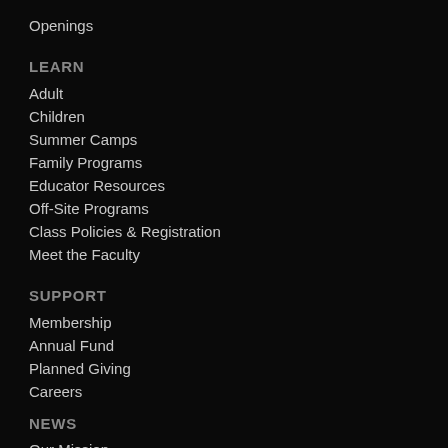Openings
LEARN
Adult
Children
Summer Camps
Family Programs
Educator Resources
Off-Site Programs
Class Policies & Registration
Meet the Faculty
SUPPORT
Membership
Annual Fund
Planned Giving
Careers
NEWS
Our Mission
Our History